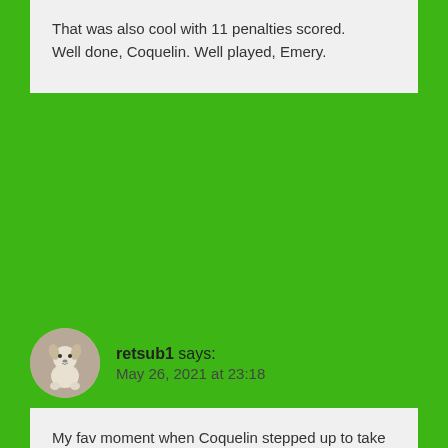That was also cool with 11 penalties scored.
Well done, Coquelin. Well played, Emery.
retsub1 says: May 26, 2021 at 23:18
My fav moment when Coquelin stepped up to take his pen and Robbie Savage said he is going to miss. I huh up yours Savage.

That was until those miserable sods from United collected their medals, sheer pleasure